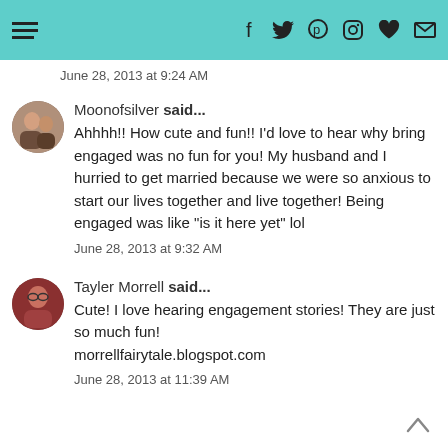Navigation and social icons header
June 28, 2013 at 9:24 AM
Moonofsilver said...
Ahhhh!! How cute and fun!! I'd love to hear why bring engaged was no fun for you! My husband and I hurried to get married because we were so anxious to start our lives together and live together! Being engaged was like "is it here yet" lol
June 28, 2013 at 9:32 AM
Tayler Morrell said...
Cute! I love hearing engagement stories! They are just so much fun!
morrellfairytale.blogspot.com
June 28, 2013 at 11:39 AM